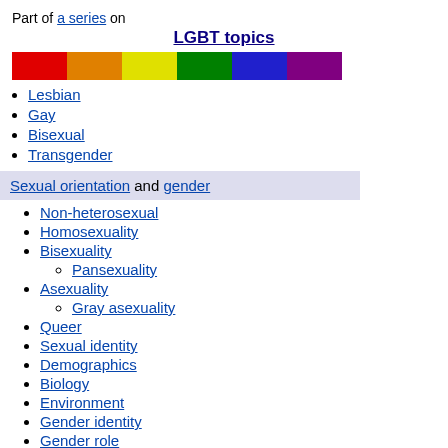Part of a series on
LGBT topics
[Figure (illustration): Rainbow flag bar with six color stripes: red, orange, yellow, green, blue, purple]
Lesbian
Gay
Bisexual
Transgender
Sexual orientation and gender
Non-heterosexual
Homosexuality
Bisexuality
Pansexuality
Asexuality
Gray asexuality
Queer
Sexual identity
Demographics
Biology
Environment
Gender identity
Gender role
Gender variance